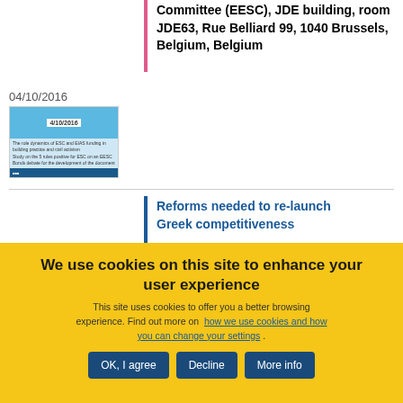Committee (EESC), JDE building, room JDE63, Rue Belliard 99, 1040 Brussels, Belgium, Belgium
04/10/2016
[Figure (other): Thumbnail image of an event flyer with blue header and text content]
Reforms needed to re-launch Greek competitiveness
We use cookies on this site to enhance your user experience
This site uses cookies to offer you a better browsing experience. Find out more on how we use cookies and how you can change your settings .